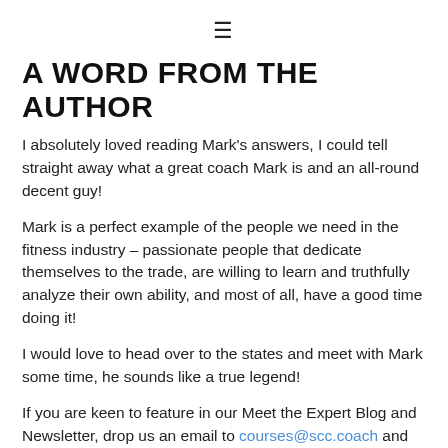≡
A WORD FROM THE AUTHOR
I absolutely loved reading Mark's answers, I could tell straight away what a great coach Mark is and an all-round decent guy!
Mark is a perfect example of the people we need in the fitness industry – passionate people that dedicate themselves to the trade, are willing to learn and truthfully analyze their own ability, and most of all, have a good time doing it!
I would love to head over to the states and meet with Mark some time, he sounds like a true legend!
If you are keen to feature in our Meet the Expert Blog and Newsletter, drop us an email to courses@scc.coach and we will send you an intro